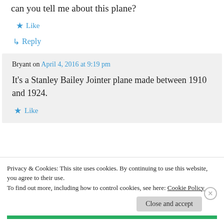can you tell me about this plane?
★ Like
↳ Reply
Bryant on April 4, 2016 at 9:19 pm
It's a Stanley Bailey Jointer plane made between 1910 and 1924.
★ Like
Privacy & Cookies: This site uses cookies. By continuing to use this website, you agree to their use.
To find out more, including how to control cookies, see here: Cookie Policy
Close and accept